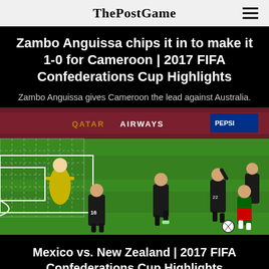ThePostGame
Zambo Anguissa chips it in to make it 1-0 for Cameroon | 2017 FIFA Confederations Cup Highlights
Zambo Anguissa gives Cameroon the lead against Australia.
[Figure (photo): Soccer match screenshot showing players on a green field. Black-uniformed players defending against a player in green/red near the goal. A yellow goalkeeper is also visible. Scoreboard banners visible in background including Qatar Airways and Pepsi logos.]
Mexico vs. New Zealand | 2017 FIFA Confederations Cup Highlights